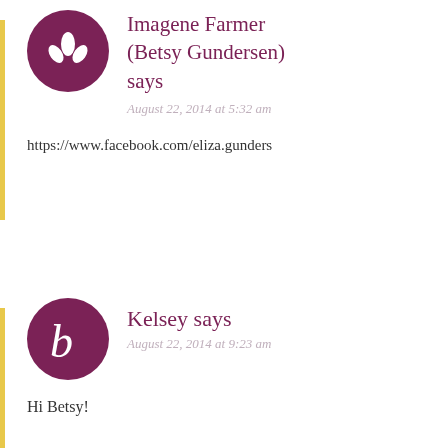[Figure (illustration): Purple circular avatar with white plant/leaf icon (three leaves)]
Imagene Farmer (Betsy Gundersen) says
August 22, 2014 at 5:32 am
https://www.facebook.com/eliza.gunders
[Figure (illustration): Purple circular avatar with white letter 'b']
Kelsey says
August 22, 2014 at 9:23 am
Hi Betsy!